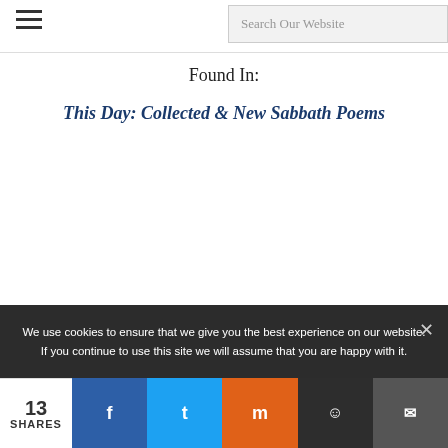Search Our Website
Found In:
This Day: Collected & New Sabbath Poems
We use cookies to ensure that we give you the best experience on our website. If you continue to use this site we will assume that you are happy with it.
13 SHARES | Facebook | Twitter | Mix | Reddit | Email